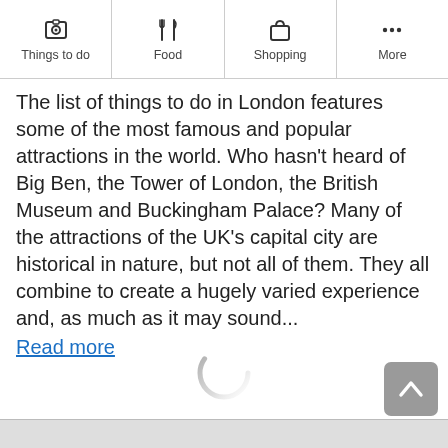Things to do | Food | Shopping | More
The list of things to do in London features some of the most famous and popular attractions in the world. Who hasn't heard of Big Ben, the Tower of London, the British Museum and Buckingham Palace? Many of the attractions of the UK's capital city are historical in nature, but not all of them. They all combine to create a hugely varied experience and, as much as it may sound...
Read more
[Figure (other): Loading spinner (circular progress indicator)]
[Figure (other): Back to top button with upward chevron arrow]